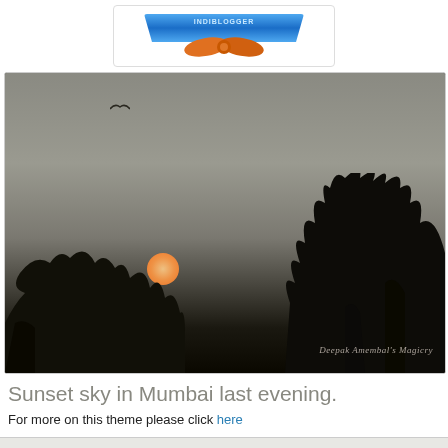[Figure (logo): Blue ribbon award badge with orange bow tie at the top of the page]
[Figure (photo): Sunset sky photograph in Mumbai showing silhouetted trees against a grey-orange sky with a glowing orange sun near the horizon and a bird in flight. Watermark reads 'Deepak Amembal's Magicry']
Sunset sky in Mumbai last evening.
For more on this theme please click here